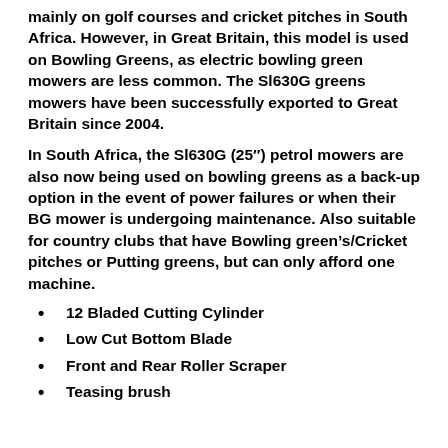mainly on golf courses and cricket pitches in South Africa. However, in Great Britain, this model is used on Bowling Greens, as electric bowling green mowers are less common. The Sl630G greens mowers have been successfully exported to Great Britain since 2004.
In South Africa, the Sl630G (25″) petrol mowers are also now being used on bowling greens as a back-up option in the event of power failures or when their BG mower is undergoing maintenance. Also suitable for country clubs that have Bowling green’s/Cricket pitches or Putting greens, but can only afford one machine.
12 Bladed Cutting Cylinder
Low Cut Bottom Blade
Front and Rear Roller Scraper
Teasing brush